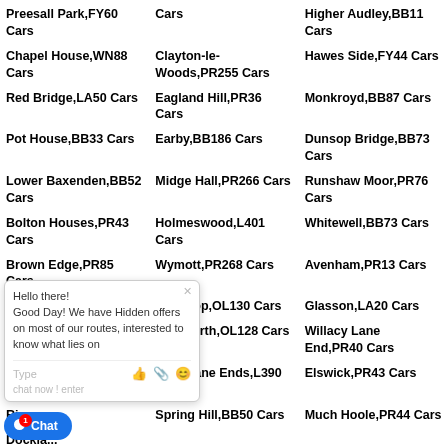Preesall Park,FY60 Cars
Cars
Higher Audley,BB11 Cars
Chapel House,WN88 Cars
Clayton-le-Woods,PR255 Cars
Hawes Side,FY44 Cars
Red Bridge,LA50 Cars
Eagland Hill,PR36 Cars
Monkroyd,BB87 Cars
Pot House,BB33 Cars
Earby,BB186 Cars
Dunsop Bridge,BB73 Cars
Lower Baxenden,BB52 Cars
Midge Hall,PR266 Cars
Runshaw Moor,PR76 Cars
Bolton Houses,PR43 Cars
Holmeswood,L401 Cars
Whitewell,BB73 Cars
Brown Edge,PR85 Cars
Wymott,PR268 Cars
Avenham,PR13 Cars
Goodshaw,BB48 Cars
Glen Top,OL130 Cars
Glasson,LA20 Cars
Woodr...
Whitworth,OL128 Cars
Willacy Lane End,PR40 Cars
Sykes,...
Four Lane Ends,L390 Cars
Elswick,PR43 Cars
Rivers...
Spring Hill,BB50 Cars
Much Hoole,PR44 Cars
Dockla...
Adling...
Sandylands,LA31 Cars
Nateby,PR30 Cars
B...,LA28 Cars
Eccleston,PR75 Cars
Bolton-le-Sands,LA58 Cars